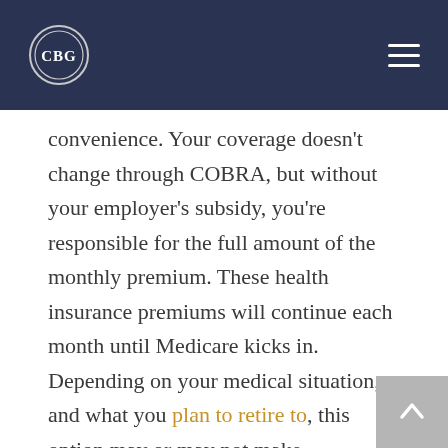CBG logo and navigation menu
convenience. Your coverage doesn't change through COBRA, but without your employer's subsidy, you're responsible for the full amount of the monthly premium. These health insurance premiums will continue each month until Medicare kicks in. Depending on your medical situation, and what you plan to retire to, this option may or may not make